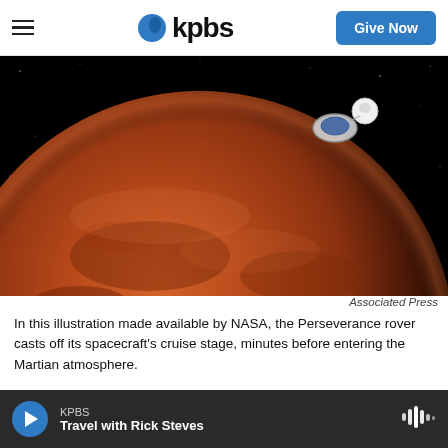kpbs | Give Now
[Figure (photo): NASA illustration of the Perseverance rover casting off its spacecraft's cruise stage near Mars, with the red planet filling most of the frame against black space.]
Associated Press
In this illustration made available by NASA, the Perseverance rover casts off its spacecraft's cruise stage, minutes before entering the Martian atmosphere.
A NASA rover streaked through the orange Martian
KPBS | Travel with Rick Steves